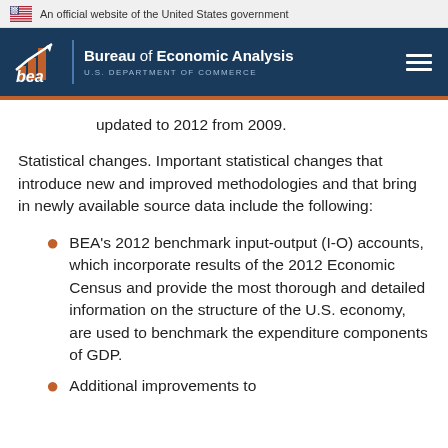An official website of the United States government
[Figure (logo): BEA Bureau of Economic Analysis, U.S. Department of Commerce logo and navigation header]
updated to 2012 from 2009.
Statistical changes. Important statistical changes that introduce new and improved methodologies and that bring in newly available source data include the following:
BEA's 2012 benchmark input-output (I-O) accounts, which incorporate results of the 2012 Economic Census and provide the most thorough and detailed information on the structure of the U.S. economy, are used to benchmark the expenditure components of GDP.
Additional improvements to